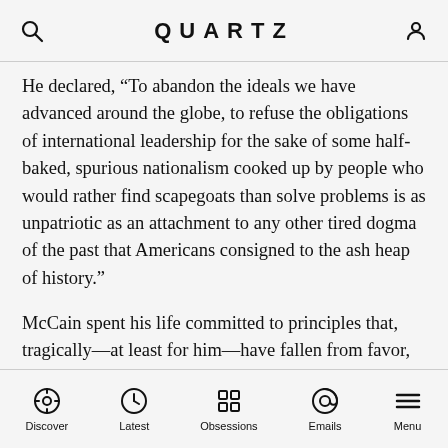QUARTZ
He declared, “To abandon the ideals we have advanced around the globe, to refuse the obligations of international leadership for the sake of some half-baked, spurious nationalism cooked up by people who would rather find scapegoats than solve problems is as unpatriotic as an attachment to any other tired dogma of the past that Americans consigned to the ash heap of history.”
McCain spent his life committed to principles that, tragically—at least for him—have fallen from favor, and the country’s repudiation of the principles he championed may put the nation at risk.
Editor’s note: This is an updated version of an article
Discover  Latest  Obsessions  Emails  Menu